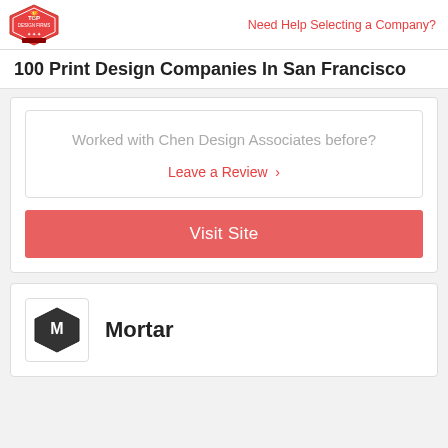Top Design Firms | Need Help Selecting a Company?
100 Print Design Companies In San Francisco
Worked with Chen Design Associates before?
Leave a Review >
Visit Site
Mortar